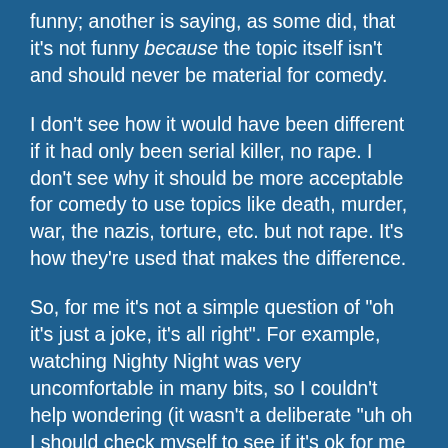funny; another is saying, as some did, that it's not funny because the topic itself isn't and should never be material for comedy.
I don't see how it would have been different if it had only been serial killer, no rape. I don't see why it should be more acceptable for comedy to use topics like death, murder, war, the nazis, torture, etc. but not rape. It's how they're used that makes the difference.
So, for me it's not a simple question of "oh it's just a joke, it's all right". For example, watching Nighty Night was very uncomfortable in many bits, so I couldn't help wondering (it wasn't a deliberate "uh oh I should check myself to see if it's ok for me to laugh at this", it was spontaneous, precisely because of that cringeing effect) if beyond the surreal comedy there was actually a deeper meanness towards some characters/situations apparently being 'caricatured' there, but... was it really a straightforward caricature of rea